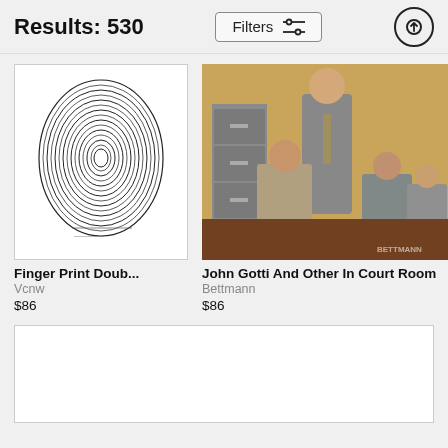Results: 530
[Figure (screenshot): Filters button with sliders icon]
[Figure (screenshot): Up arrow button]
[Figure (illustration): Fingerprint double illustration - black ink fingerprint on white background]
Finger Print Doub...
Vcnw
$86
[Figure (photo): John Gotti and other men in court room, men in suits seated and standing around a table]
John Gotti And Other In Court Room
Bettmann
$86
[Figure (other): Empty white image card placeholder at bottom of page]